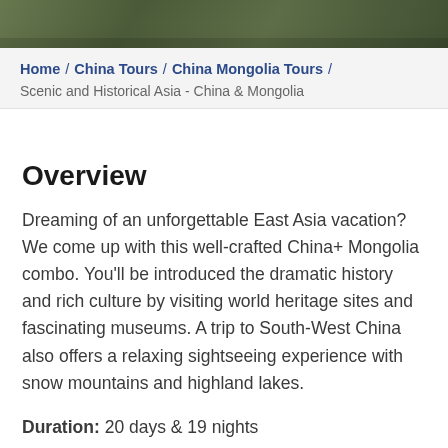[Figure (photo): Outdoor scenic photo strip showing green vegetation and natural landscape, cropped at top of page]
Home / China Tours / China Mongolia Tours /
Scenic and Historical Asia - China & Mongolia
Overview
Dreaming of an unforgettable East Asia vacation? We come up with this well-crafted China+ Mongolia combo. You'll be introduced the dramatic history and rich culture by visiting world heritage sites and fascinating museums. A trip to South-West China also offers a relaxing sightseeing experience with snow mountains and highland lakes.
Duration: 20 days & 19 nights
Destinations: Shanghai, Xian, Chengdu, Lijiang...